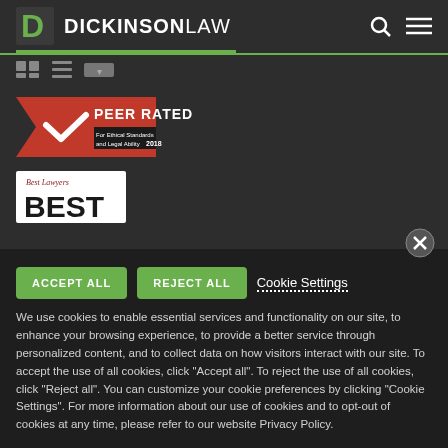[Figure (logo): Dickinson Law logo with white D shield icon and DICKINSONLAW text]
[Figure (logo): Peer Rated badge - For Ethical Standards and Legal Ability 2018]
[Figure (logo): Best Lawyers BEST badge]
ACCEPT ALL  REJECT ALL  Cookie Settings
We use cookies to enable essential services and functionality on our site, to enhance your browsing experience, to provide a better service through personalized content, and to collect data on how visitors interact with our site. To accept the use of all cookies, click "Accept all". To reject the use of all cookies, click "Reject all". You can customize your cookie preferences by clicking "Cookie Settings". For more information about our use of cookies and to opt-out of cookies at any time, please refer to our website Privacy Policy.